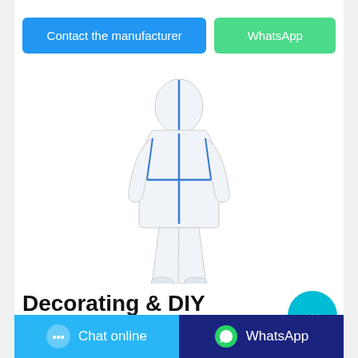[Figure (other): Blue button labeled 'Contact the manufacturer' and green button labeled 'WhatsApp']
[Figure (photo): Back view of a person wearing a white protective coverall/hazmat suit with blue seam tape, hooded, full body]
Decorating & DIY Products Leisure ... - Poundland
[Figure (other): Cyan circular chat bubble button]
[Figure (other): Bottom bar with 'Chat online' button (light blue) and 'WhatsApp' button (dark blue)]